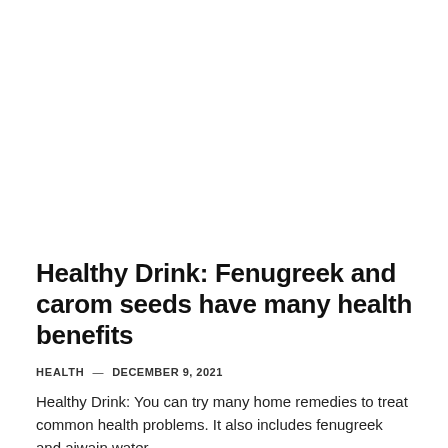Healthy Drink: Fenugreek and carom seeds have many health benefits
HEALTH — DECEMBER 9, 2021
Healthy Drink: You can try many home remedies to treat common health problems. It also includes fenugreek and ajwain water....